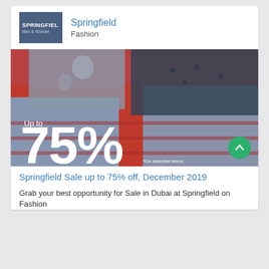[Figure (logo): Springfield fashion brand logo — dark blue-grey rectangle with white text 'SPRINGFIEL' and subtitle text]
Springfield
Fashion
[Figure (photo): Two people sitting on red bleachers wearing casual winter clothes and jeans, holding cups. Large white text overlay reads 'Up to 75%' with '*On selected items' below.]
Springfield Sale up to 75% off, December 2019
Grab your best opportunity for Sale in Dubai at Springfield on Fashion